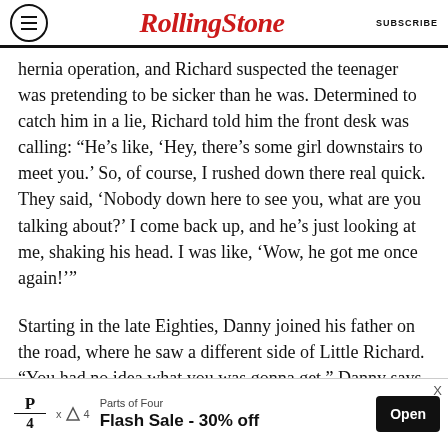RollingStone  SUBSCRIBE
hernia operation, and Richard suspected the teenager was pretending to be sicker than he was. Determined to catch him in a lie, Richard told him the front desk was calling: “He’s like, ‘Hey, there’s some girl downstairs to meet you.’ So, of course, I rushed down there real quick. They said, ‘Nobody down here to see you, what are you talking about?’ I come back up, and he’s just looking at me, shaking his head. I was like, ‘Wow, he got me once again!’”
Starting in the late Eighties, Danny joined his father on the road, where he saw a different side of Little Richard. “You had no idea what you was gonna get,” Danny says with a laugh. “He might
[Figure (other): Advertisement banner for Parts of Four: Flash Sale - 30% off with Open button]